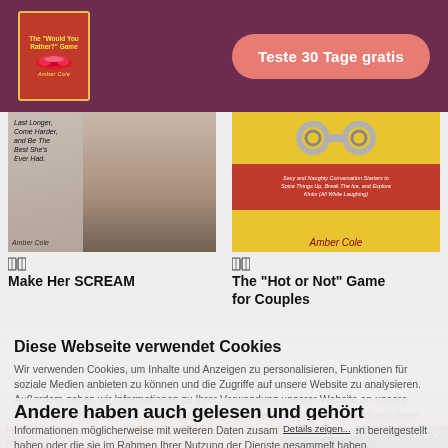[Figure (logo): Book logo: 'The Would You Rather? Game' book cover with red background and yellow lips illustration]
Teste 30 Tage gratis
[Figure (photo): Book cover: Make Her SCREAM - woman in black underwear]
Make Her SCREAM
[Figure (photo): Book cover: The Hot or Not Game for Couples - yellow background with handcuffs]
The "Hot or Not" Game for Couples
Diese Webseite verwendet Cookies
Wir verwenden Cookies, um Inhalte und Anzeigen zu personalisieren, Funktionen für soziale Medien anbieten zu können und die Zugriffe auf unsere Website zu analysieren. Außerdem geben wir Informationen zu Ihrer Verwendung unserer Website an unsere Partner für soziale Medien, Werbung und Analysen weiter. Unsere Partner führen diese Informationen möglicherweise mit weiteren Daten zusammen, die Sie ihnen bereitgestellt haben oder die sie im Rahmen Ihrer Nutzung der Dienste gesammelt haben.
Andere haben auch gelesen und gehört
[Figure (photo): Bottom row: Make Her book cover (pink), The Hot or Not book cover (yellow), dark book cover with NEV text]
Details zeigen...